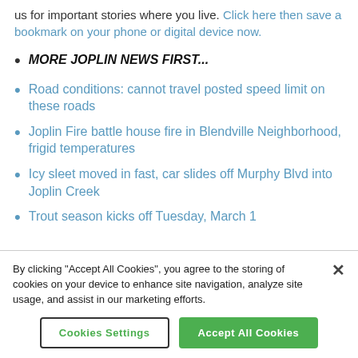us for important stories where you live. Click here then save a bookmark on your phone or digital device now.
MORE JOPLIN NEWS FIRST...
Road conditions: cannot travel posted speed limit on these roads
Joplin Fire battle house fire in Blendville Neighborhood, frigid temperatures
Icy sleet moved in fast, car slides off Murphy Blvd into Joplin Creek
Trout season kicks off Tuesday, March 1
By clicking "Accept All Cookies", you agree to the storing of cookies on your device to enhance site navigation, analyze site usage, and assist in our marketing efforts.
Cookies Settings | Accept All Cookies